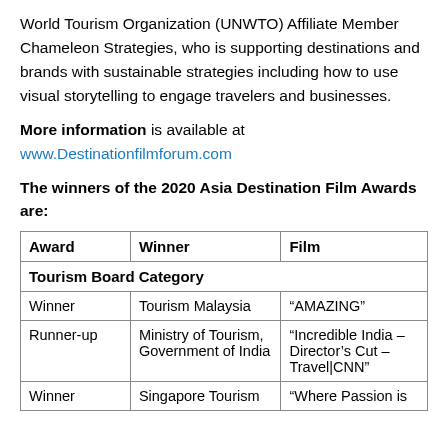World Tourism Organization (UNWTO) Affiliate Member Chameleon Strategies, who is supporting destinations and brands with sustainable strategies including how to use visual storytelling to engage travelers and businesses.
More information is available at www.Destinationfilmforum.com
The winners of the 2020 Asia Destination Film Awards are:
| Award | Winner | Film |
| --- | --- | --- |
| Tourism Board Category |  |  |
| Winner | Tourism Malaysia | “AMAZING” |
| Runner-up | Ministry of Tourism, Government of India | “Incredible India – Director’s Cut – Travel|CNN” |
| Winner | Singapore Tourism | “Where Passion is |